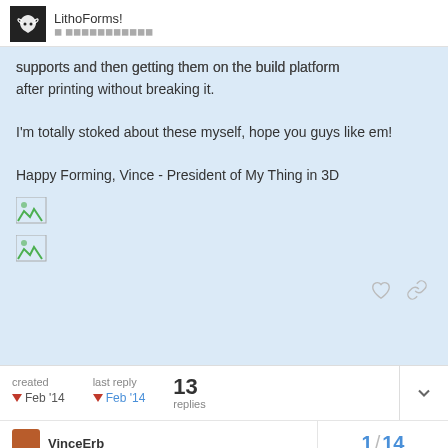LithoForms!
supports and then getting them on the build platform after printing without breaking it.

I'm totally stoked about these myself, hope you guys like em!

Happy Forming, Vince - President of My Thing in 3D
[Figure (photo): Broken image placeholder 1]
[Figure (photo): Broken image placeholder 2]
created Feb '14   last reply Feb '14   13 replies
VinceErb   1 / 14